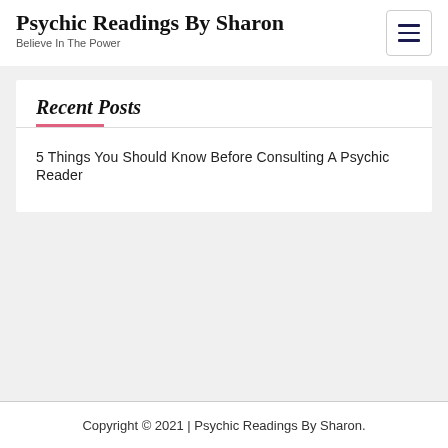Psychic Readings By Sharon
Believe In The Power
Recent Posts
5 Things You Should Know Before Consulting A Psychic Reader
Copyright © 2021 | Psychic Readings By Sharon.